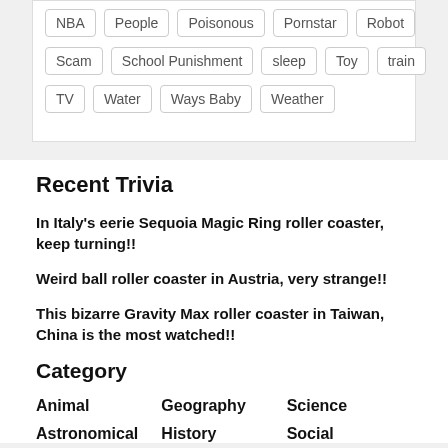NBA  People  Poisonous  Pornstar  Robot
Scam  School Punishment  sleep  Toy  train
TV  Water  Ways Baby  Weather
Recent Trivia
In Italy's eerie Sequoia Magic Ring roller coaster, keep turning!!
Weird ball roller coaster in Austria, very strange!!
This bizarre Gravity Max roller coaster in Taiwan, China is the most watched!!
Category
Animal
Geography
Science
Astronomical
History
Social